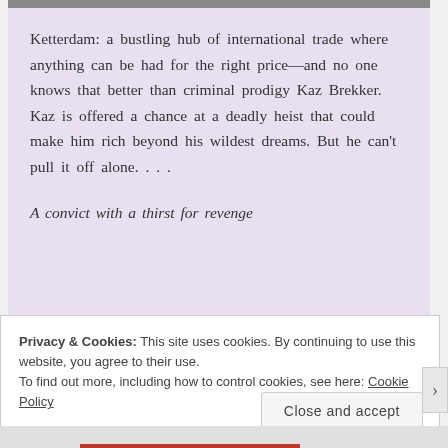[Figure (photo): Top portion of a book cover image, cropped at the top of the page]
Ketterdam: a bustling hub of international trade where anything can be had for the right price—and no one knows that better than criminal prodigy Kaz Brekker. Kaz is offered a chance at a deadly heist that could make him rich beyond his wildest dreams. But he can't pull it off alone. . . .

A convict with a thirst for revenge
Privacy & Cookies: This site uses cookies. By continuing to use this website, you agree to their use.
To find out more, including how to control cookies, see here: Cookie Policy
Close and accept